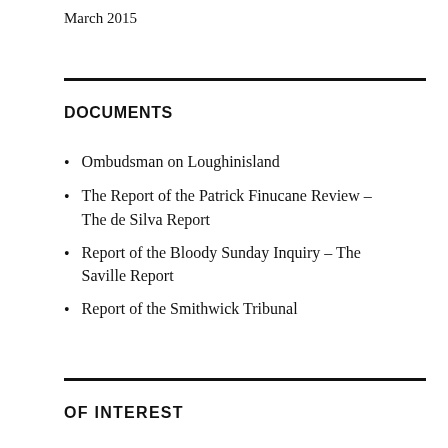March 2015
DOCUMENTS
Ombudsman on Loughinisland
The Report of the Patrick Finucane Review – The de Silva Report
Report of the Bloody Sunday Inquiry – The Saville Report
Report of the Smithwick Tribunal
OF INTEREST